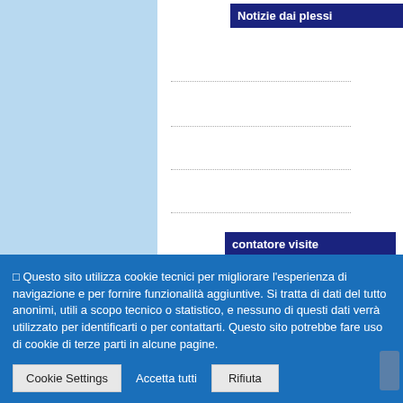Notizie dai plessi
|  |  |
| --- | --- |
| Totale visitatori: | 988444 |
| Oggi: | 24 |
| Ieri: | 347 |
Questo sito utilizza cookie tecnici per migliorare l'esperienza di navigazione e per fornire funzionalità aggiuntive. Si tratta di dati del tutto anonimi, utili a scopo tecnico o statistico, e nessuno di questi dati verrà utilizzato per identificarti o per contattarti. Questo sito potrebbe fare uso di cookie di terze parti in alcune pagine.
Cookie Settings | Accetta tutti | Rifiuta